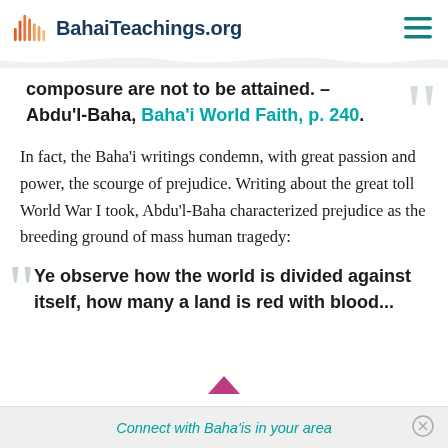BahaiTeachings.org
composure are not to be attained. – Abdu'l-Baha, Baha'i World Faith, p. 240.
In fact, the Baha'i writings condemn, with great passion and power, the scourge of prejudice. Writing about the great toll World War I took, Abdu'l-Baha characterized prejudice as the breeding ground of mass human tragedy:
Ye observe how the world is divided against itself, how many a land is red with blood...
Connect with Baha'is in your area